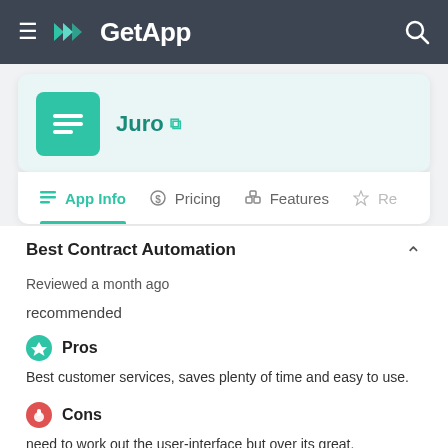GetApp
Juro
App Info  Pricing  Features  Re
Best Contract Automation
Reviewed a month ago
recommended
Pros
Best customer services, saves plenty of time and easy to use.
Cons
need to work out the user-interface but over its great.